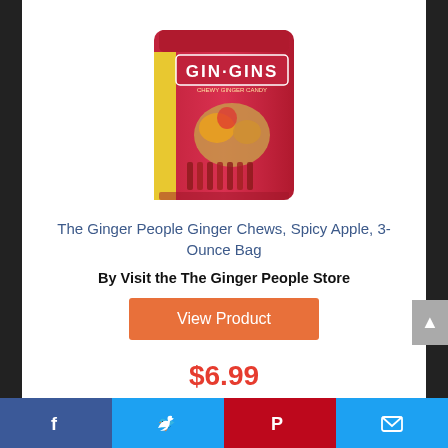[Figure (photo): Gin-Gins brand ginger chews spicy apple flavor, red bag with ginger root illustration]
The Ginger People Ginger Chews, Spicy Apple, 3-Ounce Bag
By Visit the The Ginger People Store
View Product
$6.99
✓Prime
Facebook  Twitter  Pinterest  Email